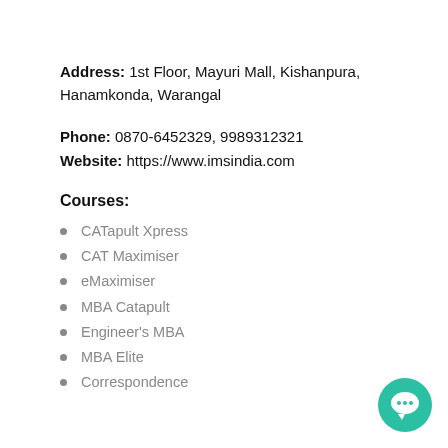Address: 1st Floor, Mayuri Mall, Kishanpura, Hanamkonda, Warangal
Phone: 0870-6452329, 9989312321
Website: https://www.imsindia.com
Courses:
CATapult Xpress
CAT Maximiser
eMaximiser
MBA Catapult
Engineer's MBA
MBA Elite
Correspondence